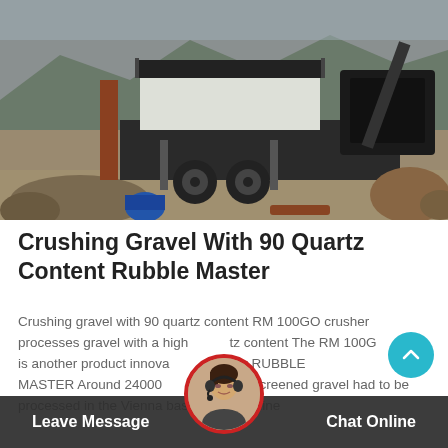[Figure (photo): Large mobile crushing machine / jaw crusher in a quarry or construction site, surrounded by rocks and gravel, with mountains in the background]
Crushing Gravel With 90 Quartz Content Rubble Master
Crushing gravel with 90 quartz content RM 100GO crusher processes gravel with a high quartz content The RM 100GO is another product innovated by RUBBLE MASTER Around 24000 mm prescreened gravel had to be processed in the Vienna basin The machine
Leave Message   Chat Online